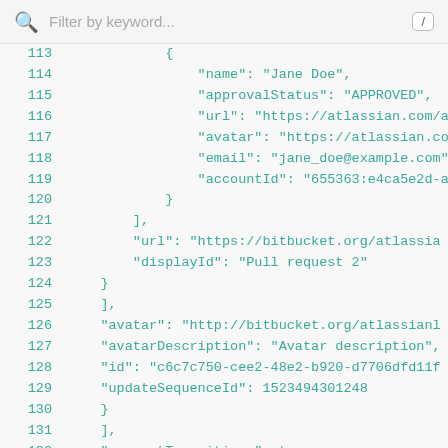[Figure (screenshot): Search bar with magnifying glass icon, 'Filter by keyword...' placeholder text, and a slash key shortcut button]
113     {
114         "name": "Jane Doe",
115         "approvalStatus": "APPROVED",
116         "url": "https://atlassian.com/acco
117         "avatar": "https://atlassian.com/a
118         "email": "jane_doe@example.com",
119         "accountId": "655363:e4ca5e2d-a901
120     }
121     ],
122     "url": "https://bitbucket.org/atlassia
123     "displayId": "Pull request 2"
124     }
125     ],
126     "avatar": "http://bitbucket.org/atlassianl
127     "avatarDescription": "Avatar description",
128     "id": "c6c7c750-cee2-48e2-b920-d7706dfd11f
129     "updateSequenceId": 1523494301248
130     }
131     ],
132     "preventTransitions": true,